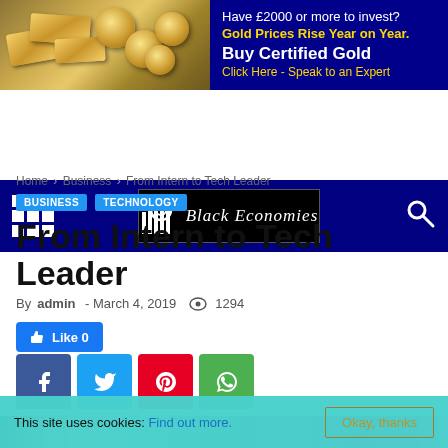[Figure (other): Gold investment advertisement banner with gold bars/coins image on left and dark blue text panel on right reading 'Have £2000 or more to invest? Gold Prices Rise Year on Year. Buy Certified Gold Click Here - Speak to an Expert']
[Figure (other): Navigation bar with dark blue background, grid menu icon on left, Black Economies logo in center, search icon on right]
Home › Business › From Intern to Tech Leader
BUSINESS  TECHNOLOGY
From Intern to Tech Leader
By admin - March 4, 2019  👁 1294
Like 0
[Figure (other): Social media share buttons row: Facebook (blue), Twitter (light blue), Pinterest (red), WhatsApp (green)]
[Figure (other): Partial article image strip at bottom]
This site uses cookies: Find out more.  Okay, thanks